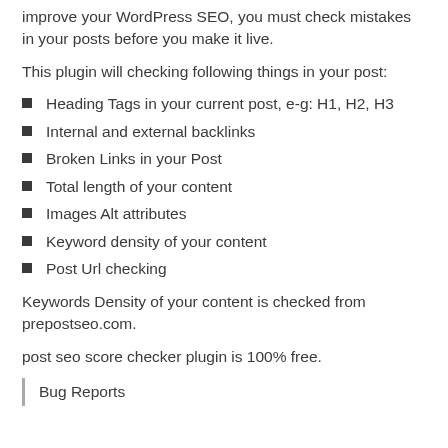improve your WordPress SEO, you must check mistakes in your posts before you make it live.
This plugin will checking following things in your post:
Heading Tags in your current post, e-g: H1, H2, H3
Internal and external backlinks
Broken Links in your Post
Total length of your content
Images Alt attributes
Keyword density of your content
Post Url checking
Keywords Density of your content is checked from prepostseo.com.
post seo score checker plugin is 100% free.
Bug Reports